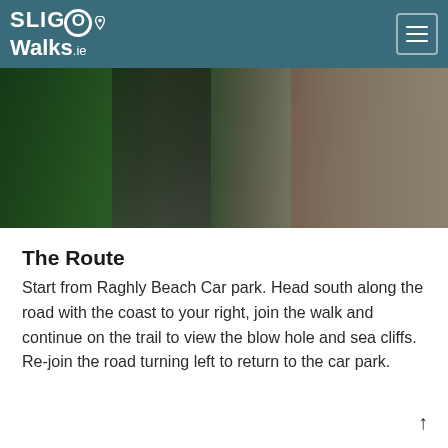SliGo Walks.ie
[Figure (photo): A narrow trail path lined with green grass and vegetation on the left, a dark gravelled path in the center, and a stone wall on the right side.]
The Route
Start from Raghly Beach Car park. Head south along the road with the coast to your right, join the walk and continue on the trail to view the blow hole and sea cliffs. Re-join the road turning left to return to the car park.